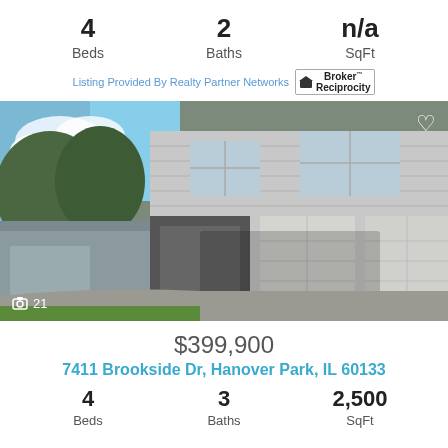4 Beds | 2 Baths | n/a SqFt
Listing Provided By Realty Partner Networks [Broker Reciprocity]
[Figure (photo): Exterior photo of a two-story house with gray siding, two-car garage, and driveway. Trees visible on the left. Photo counter shows 21 images.]
$399,900
7411 Brookside Dr, Hanover Park, IL 60133
4 Beds | 3 Baths | 2,500 SqFt